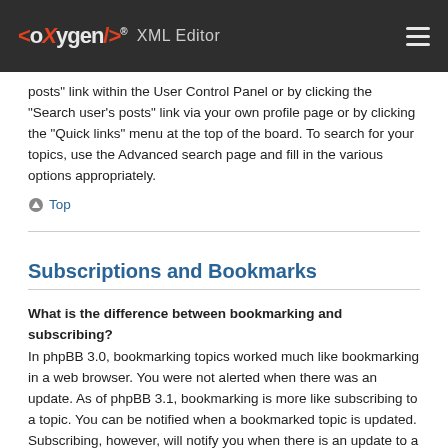<oXygen/> XML Editor
posts" link within the User Control Panel or by clicking the "Search user's posts" link via your own profile page or by clicking the "Quick links" menu at the top of the board. To search for your topics, use the Advanced search page and fill in the various options appropriately.
Top
Subscriptions and Bookmarks
What is the difference between bookmarking and subscribing? In phpBB 3.0, bookmarking topics worked much like bookmarking in a web browser. You were not alerted when there was an update. As of phpBB 3.1, bookmarking is more like subscribing to a topic. You can be notified when a bookmarked topic is updated. Subscribing, however, will notify you when there is an update to a topic or forum on the board. Notification options for bookmarks and subscriptions can be configured in the User Control Panel, under "Board preferences".